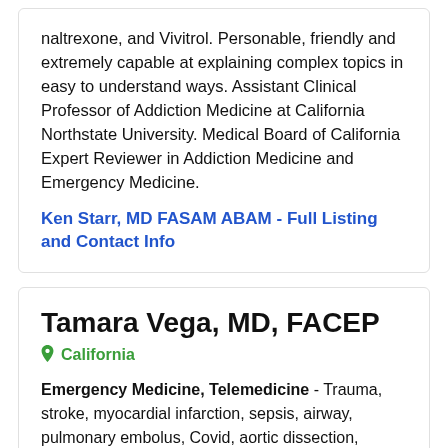naltrexone, and Vivitrol. Personable, friendly and extremely capable at explaining complex topics in easy to understand ways. Assistant Clinical Professor of Addiction Medicine at California Northstate University. Medical Board of California Expert Reviewer in Addiction Medicine and Emergency Medicine.
Ken Starr, MD FASAM ABAM - Full Listing and Contact Info
Tamara Vega, MD, FACEP
California
Emergency Medicine, Telemedicine - Trauma, stroke, myocardial infarction, sepsis, airway, pulmonary embolus, Covid, aortic dissection, abdominal aortic aneurysm (AAA), hand injuries, necrotizing fasciitis, osteomyelitis, overdose, toxicology, medication errors, sexual assault, battery, homicide, disability, Workers Compensation
20+ years Emergency Medicine experience with extensive teaching experience at the medical school and graduate...